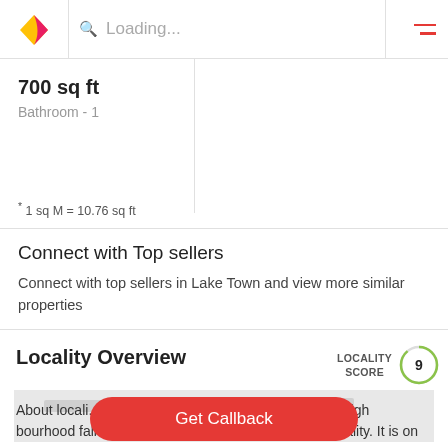Loading...
700 sq ft
Bathroom - 1
* 1 sq M = 10.76 sq ft
Connect with Top sellers
Connect with top sellers in Lake Town and view more similar properties
Locality Overview
LOCALITY SCORE 9
[Figure (map): Map placeholder showing locality area]
About locali... Lake Town ... scale neighbourhood falls under the jurisdiction of South municipality. It is on
Get Callback